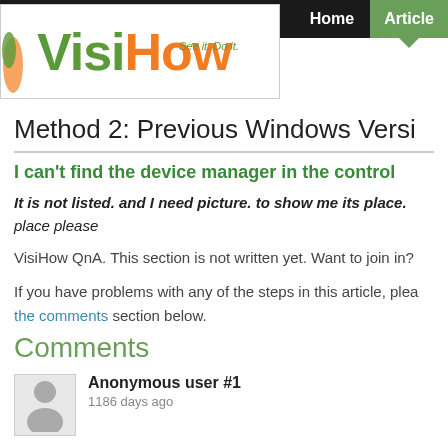VisiHow — See it. Do it.
Method 2: Previous Windows Versi
I can't find the device manager in the control
It is not listed. and I need picture. to show me its place. place please
VisiHow QnA. This section is not written yet. Want to join in?
If you have problems with any of the steps in this article, please ask in the comments section below.
Comments
Anonymous user #1
1186 days ago